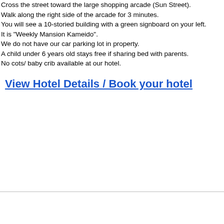Cross the street toward the large shopping arcade (Sun Street).
Walk along the right side of the arcade for 3 minutes.
You will see a 10-storied building with a green signboard on your left.
It is "Weekly Mansion Kameido".
We do not have our car parking lot in property.
A child under 6 years old stays free if sharing bed with parents.
No cots/ baby crib available at our hotel.
View Hotel Details / Book your hotel